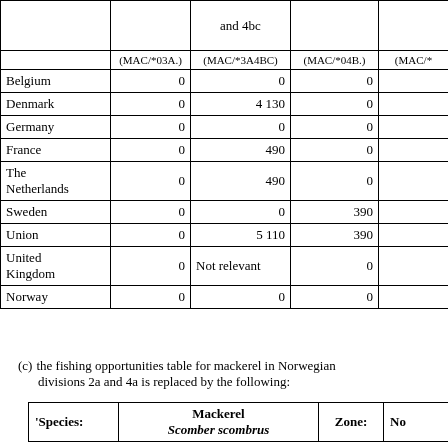|  | (MAC/*03A.) | (MAC/*3A4BC) | (MAC/*04B.) | (MAC/*) |
| --- | --- | --- | --- | --- |
| Belgium | 0 | 0 | 0 |  |
| Denmark | 0 | 4 130 | 0 |  |
| Germany | 0 | 0 | 0 |  |
| France | 0 | 490 | 0 |  |
| The Netherlands | 0 | 490 | 0 |  |
| Sweden | 0 | 0 | 390 |  |
| Union | 0 | 5 110 | 390 |  |
| United Kingdom | 0 | Not relevant | 0 |  |
| Norway | 0 | 0 | 0 |  |
(c) the fishing opportunities table for mackerel in Norwegian divisions 2a and 4a is replaced by the following:
| 'Species: | Mackerel Scomber scombrus | Zone: | No |
| --- | --- | --- | --- |